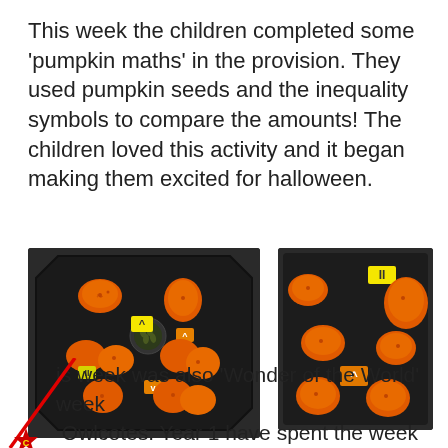This week the children completed some 'pumpkin maths' in the provision. They used pumpkin seeds and the inequality symbols to compare the amounts! The children loved this activity and it began making them excited for halloween.
[Figure (photo): Photo of a black octagonal tray with orange pumpkin-shaped paper cutouts and yellow inequality symbol cards arranged on it, with seeds in a small circular bowl in the center.]
[Figure (photo): Photo of a black tray with orange pumpkin-shaped paper cutouts and yellow inequality symbol cards arranged on it.]
is week was also 'Wonder of the World' week Owlcotes. Year 1 have spent the week